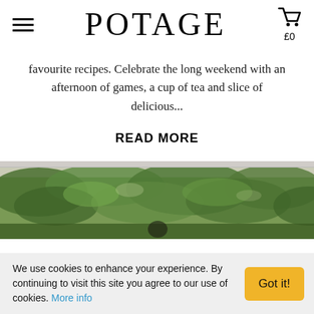POTAGE
favourite recipes. Celebrate the long weekend with an afternoon of games, a cup of tea and slice of delicious...
READ MORE
[Figure (photo): Outdoor scene with green leafy trees and park-like setting, viewed through what appears to be a window frame]
We use cookies to enhance your experience. By continuing to visit this site you agree to our use of cookies. More info